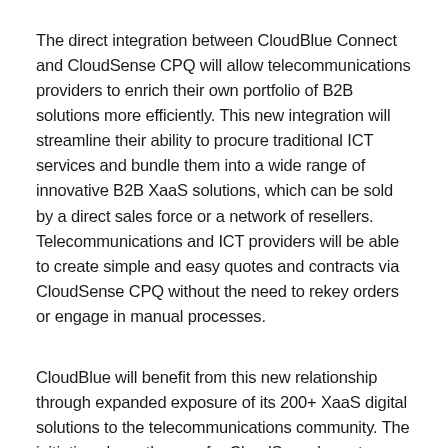The direct integration between CloudBlue Connect and CloudSense CPQ will allow telecommunications providers to enrich their own portfolio of B2B solutions more efficiently. This new integration will streamline their ability to procure traditional ICT services and bundle them into a wide range of innovative B2B XaaS solutions, which can be sold by a direct sales force or a network of resellers. Telecommunications and ICT providers will be able to create simple and easy quotes and contracts via CloudSense CPQ without the need to rekey orders or engage in manual processes.
CloudBlue will benefit from this new relationship through expanded exposure of its 200+ XaaS digital solutions to the telecommunications community. The initiative clears the way for CloudSense's customers to access the tools they need to provide businesses of all sizes with the anything-as-a-service (XaaS) offerings